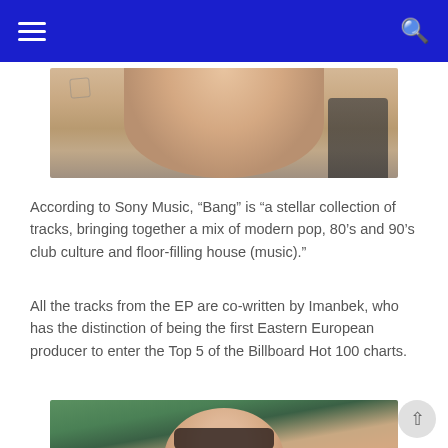Navigation bar with hamburger menu and search icon
[Figure (photo): Partial photo showing a person's torso/midsection area, cropped at top]
According to Sony Music, “Bang” is “a stellar collection of tracks, bringing together a mix of modern pop, 80’s and 90’s club culture and floor-filling house (music).”
All the tracks from the EP are co-written by Imanbek, who has the distinction of being the first Eastern European producer to enter the Top 5 of the Billboard Hot 100 charts.
[Figure (photo): Portrait photo of a young man wearing dark sunglasses, with short hair, outdoors with trees and blue sky in the background]